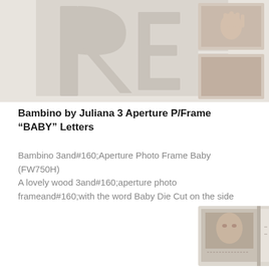[Figure (photo): Top portion of a cream/white wooden photo frame with letter cutouts spelling BABY and apertures showing baby photos]
Bambino by Juliana 3 Aperture P/Frame “BABY” Letters
Bambino 3and#160;Aperture Photo Frame Baby (FW750H)
A lovely wood 3and#160;aperture photo frameand#160;with the word Baby Die Cut on the side
A perfect gift for the baby pictures
Supplied in a gift box
[Figure (photo): Bottom portion showing a photo album or book with a baby photo inside, cream colored cover]